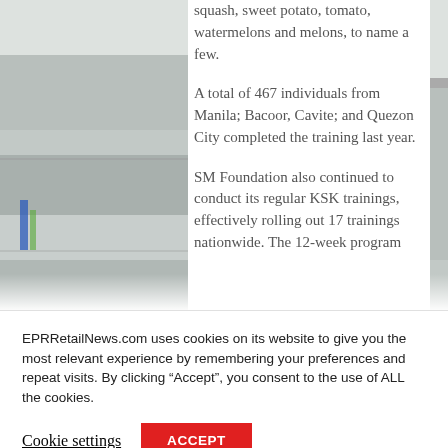[Figure (photo): Left-side image strip showing partial view of shelves or store items; mostly gray/muted tones.]
Squash, sweet potato, tomato, watermelons and melons, to name a few.

A total of 467 individuals from Manila; Bacoor, Cavite; and Quezon City completed the training last year.

SM Foundation also continued to conduct its regular KSK trainings, effectively rolling out 17 trainings nationwide. The 12-week program
EPRRetailNews.com uses cookies on its website to give you the most relevant experience by remembering your preferences and repeat visits. By clicking “Accept”, you consent to the use of ALL the cookies.
Cookie settings
ACCEPT